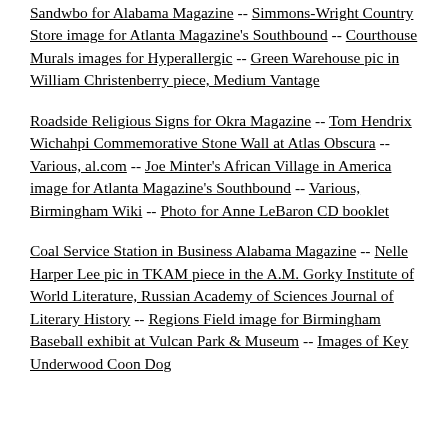Sandwbo for Alabama Magazine -- Simmons-Wright Country Store image for Atlanta Magazine's Southbound -- Courthouse Murals images for Hyperallergic -- Green Warehouse pic in William Christenberry piece, Medium Vantage
Roadside Religious Signs for Okra Magazine -- Tom Hendrix Wichahpi Commemorative Stone Wall at Atlas Obscura -- Various, al.com -- Joe Minter's African Village in America image for Atlanta Magazine's Southbound -- Various, Birmingham Wiki -- Photo for Anne LeBaron CD booklet
Coal Service Station in Business Alabama Magazine -- Nelle Harper Lee pic in TKAM piece in the A.M. Gorky Institute of World Literature, Russian Academy of Sciences Journal of Literary History -- Regions Field image for Birmingham Baseball exhibit at Vulcan Park & Museum -- Images of Key Underwood Coon Dog Cemetery and other Alabama Milestone images for